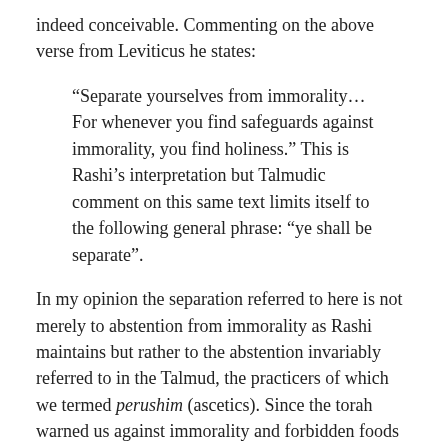indeed conceivable. Commenting on the above verse from Leviticus he states:
“Separate yourselves from immorality…For whenever you find safeguards against immorality, you find holiness.” This is Rashi’s interpretation but Talmudic comment on this same text limits itself to the following general phrase: “ye shall be separate”.
In my opinion the separation referred to here is not merely to abstention from immorality as Rashi maintains but rather to the abstention invariably referred to in the Talmud, the practicers of which we termed perushim (ascetics). Since the torah warned us against immorality and forbidden foods but permitted marital relations and the partaking of meat and wine, the immoderate person might abuse these dispersions, overindulging in permitted